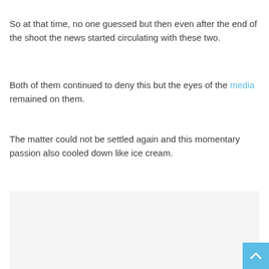So at that time, no one guessed but then even after the end of the shoot the news started circulating with these two.
Both of them continued to deny this but the eyes of the media remained on them.
The matter could not be settled again and this momentary passion also cooled down like ice cream.
[Figure (other): Light gray advertisement/content placeholder box]